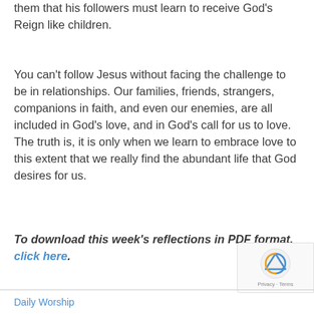them that his followers must learn to receive God's Reign like children.
You can't follow Jesus without facing the challenge to be in relationships. Our families, friends, strangers, companions in faith, and even our enemies, are all included in God's love, and in God's call for us to love. The truth is, it is only when we learn to embrace love to this extent that we really find the abundant life that God desires for us.
To download this week's reflections in PDF format, click here.
[Figure (other): reCAPTCHA privacy badge in bottom right corner]
Daily Worship